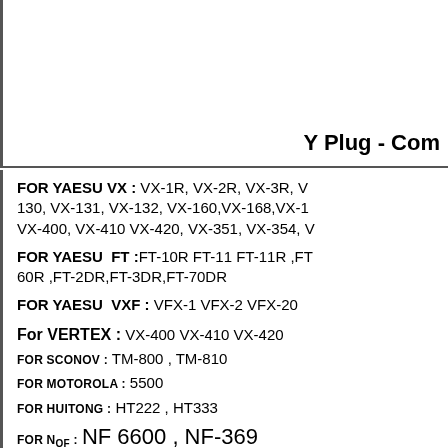Y Plug - Com
FOR YAESU VX : VX-1R, VX-2R, VX-3R, V... 130, VX-131, VX-132, VX-160, VX-168, VX-1... VX-400, VX-410 VX-420, VX-351, VX-354, V...
FOR YAESU FT :FT-10R FT-11 FT-11R ,FT-... 60R ,FT-2DR,FT-3DR,FT-70DR
FOR YAESU VXF : VFX-1 VFX-2 VFX-20
For VERTEX : VX-400 VX-410 VX-420
FOR SCONOV : TM-800 , TM-810
FOR Motorola : 5500
FOR HUITONG : HT222 , HT333
FOR N... : NF 6600 , NF-369